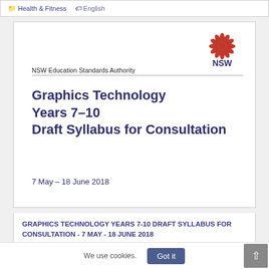Health & Fitness  English
[Figure (screenshot): NSW Education Standards Authority document cover: Graphics Technology Years 7–10 Draft Syllabus for Consultation, 7 May – 18 June 2018, with NSW government logo]
GRAPHICS TECHNOLOGY YEARS 7-10 DRAFT SYLLABUS FOR CONSULTATION - 7 MAY - 18 JUNE 2018
Uncategorized  English
We use cookies.